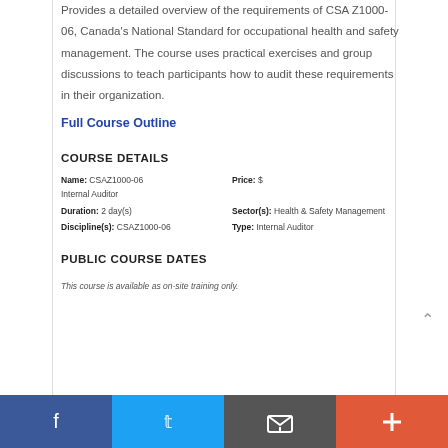Provides a detailed overview of the requirements of CSA Z1000-06, Canada's National Standard for occupational health and safety management. The course uses practical exercises and group discussions to teach participants how to audit these requirements in their organization.
Full Course Outline
COURSE DETAILS
| Name: | CSAZ1000-06 Internal Auditor | Price: | $ |
| Duration: | 2 day(s) | Sector(s): | Health & Safety Management |
| Discipline(s): | CSAZ1000-06 | Type: | Internal Auditor |
PUBLIC COURSE DATES
This course is available as on-site training only.